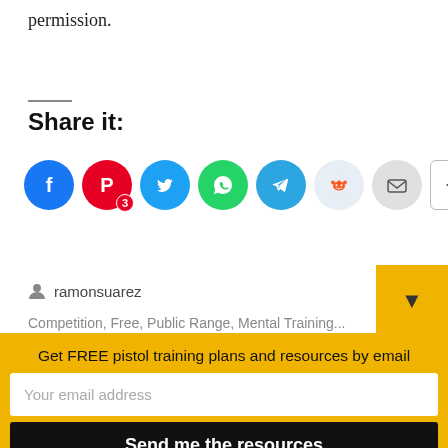permission.
Share it:
[Figure (infographic): Social media share buttons: Facebook, Pinterest (3), Twitter, WhatsApp, Telegram, Reddit, Email, and a More button]
ramonsuarez
Get FREE pistol training plans and resources by email
Your email address
Send me the resources